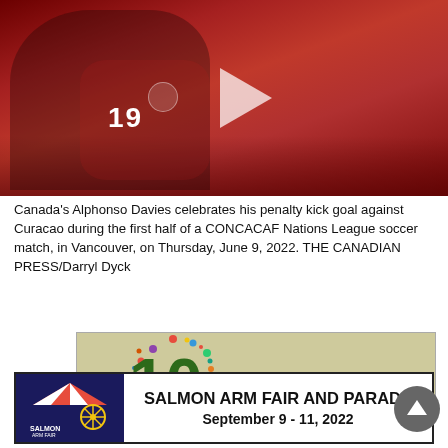[Figure (photo): Canada's Alphonso Davies in red jersey number 19, celebrating with arm raised, with a play button triangle overlay indicating this is a video thumbnail.]
Canada's Alphonso Davies celebrates his penalty kick goal against Curacao during the first half of a CONCACAF Nations League soccer match, in Vancouver, on Thursday, June 9, 2022. THE CANADIAN PRESS/Darryl Dyck
[Figure (other): Partial advertisement showing green '10' with colorful decorative circle of icons around it, on a beige/tan background.]
[Figure (other): Advertisement for Salmon Arm Fair and Parade. Shows logo on left with blue background and text 'SALMON ARM FAIR'. Main text reads 'SALMON ARM FAIR AND PARADE September 9 - 11, 2022'.]